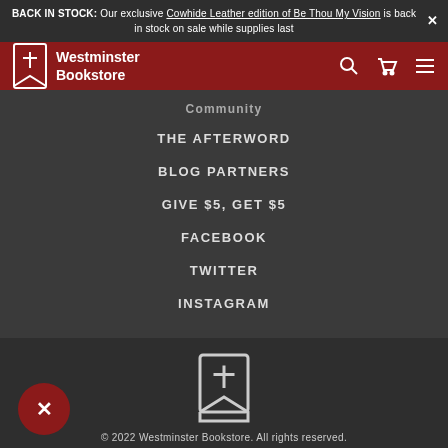BACK IN STOCK: Our exclusive Cowhide Leather edition of Be Thou My Vision is back in stock on sale while supplies last
[Figure (logo): Westminster Bookstore logo with navigation icons (search, cart, menu) on dark red header bar]
Community
THE AFTERWORD
BLOG PARTNERS
GIVE $5, GET $5
FACEBOOK
TWITTER
INSTAGRAM
[Figure (logo): Westminster Bookstore bookmark/shield logo icon in white outline]
© 2022 Westminster Bookstore. All rights reserved.